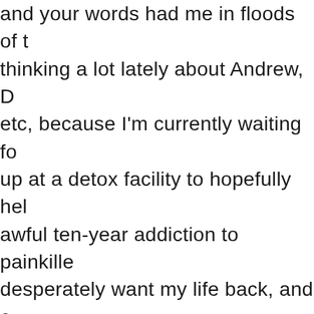and your words had me in floods of tears. I'm thinking a lot lately about Andrew, Demri, etc, because I'm currently waiting for a place up at a detox facility to hopefully help my awful ten-year addiction to painkillers. I desperately want my life back, and although I adore the aforementioned people, I have no wish to follow in their footsteps and go to rehab too young. I'm determined to fight this demon, be a better daughter, sister, aunt and friend to all who love me. I hope this doesn't sound crazy, I pray to Andrew and Demri sometimes and ask them to send me the strength I need. I listen to 'Dancer' and think of how I want my life to be as beautiful as that song.
Love to you all, from Scotland
Wish me luck xxx